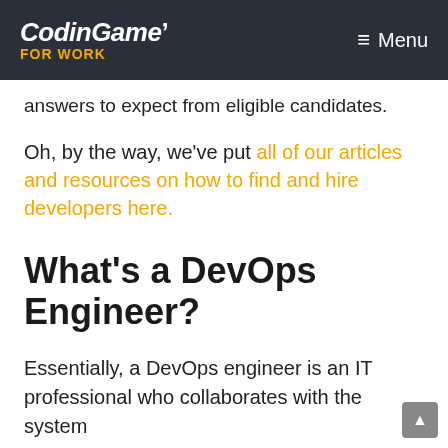CodinGame FOR WORK  ≡ Menu
answers to expect from eligible candidates.
Oh, by the way, we've put all of our articles and resources on how to find and hire developers here.
What's a DevOps Engineer?
Essentially, a DevOps engineer is an IT professional who collaborates with the system